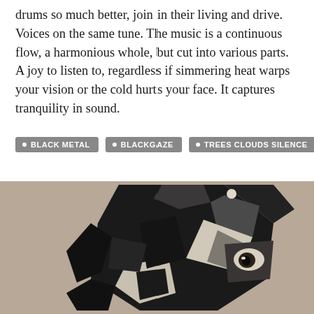drums so much better, join in their living and drive. Voices on the same tune. The music is a continuous flow, a harmonious whole, but cut into various parts. A joy to listen to, regardless if simmering heat warps your vision or the cold hurts your face. It captures tranquility in sound.
BLACK METAL
BLACKGAZE
TREES CLOUDS SILENCE
[Figure (illustration): Abstract dark angular illustration of a face or mask rendered in black and grey tones against a tan/beige background. The face appears fragmented with sharp geometric shapes, showing one eye prominently.]